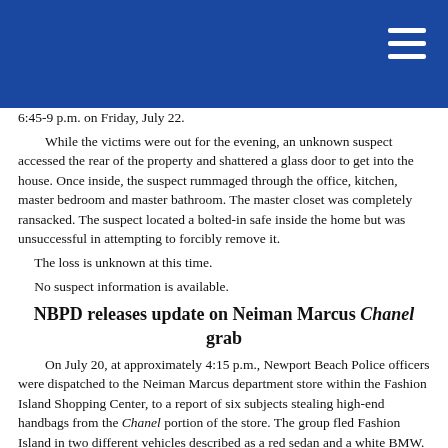6:45-9 p.m. on Friday, July 22.
While the victims were out for the evening, an unknown suspect accessed the rear of the property and shattered a glass door to get into the house. Once inside, the suspect rummaged through the office, kitchen, master bedroom and master bathroom. The master closet was completely ransacked. The suspect located a bolted-in safe inside the home but was unsuccessful in attempting to forcibly remove it.
The loss is unknown at this time.
No suspect information is available.
NBPD releases update on Neiman Marcus Chanel grab
On July 20, at approximately 4:15 p.m., Newport Beach Police officers were dispatched to the Neiman Marcus department store within the Fashion Island Shopping Center, to a report of six subjects stealing high-end handbags from the Chanel portion of the store. The group fled Fashion Island in two different vehicles described as a red sedan and a white BMW.
NBPD officers quickly located the white BMW and attempted a traffic stop. The driver of the BMW failed to yield and a vehicle pursuit ensued. During the course of the pursuit, the suspects discarded several of the stolen items along the pursuit route.
NBPD requested the assistance of the Orange County Sheriff's Department Air Unit and the California Highway Patrol. The suspect vehicle eventually exited the 405 Freeway at Bolsa Avenue where the suspects fled on foot in the City of Westminster. All four occupants were quickly apprehended with the assistance of personnel from the Orange